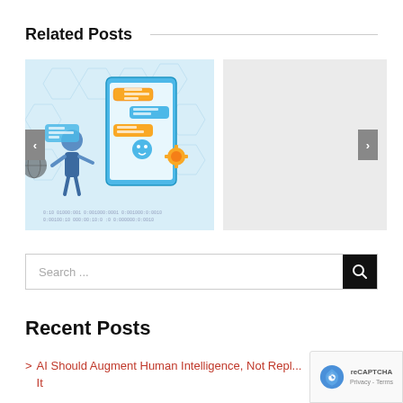Related Posts
[Figure (illustration): AI chatbot illustration showing a person interacting with a large smartphone displaying chat bubbles, with hexagonal network patterns in the background and binary code at the bottom.]
[Figure (other): Grey placeholder image for a related post card.]
Search ...
Recent Posts
AI Should Augment Human Intelligence, Not Repl... It